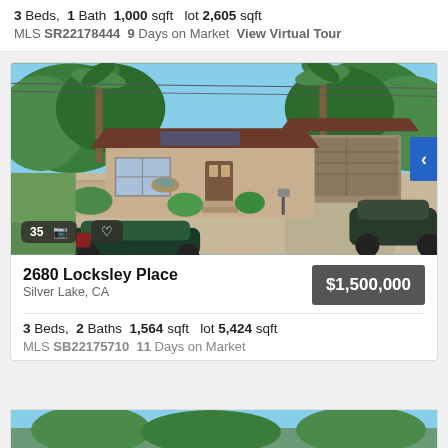3 Beds, 1 Bath 1,000 sqft lot 2,605 sqft
MLS SR22178444 9 Days on Market View Virtual Tour
[Figure (photo): Exterior photo of a single-story house at 2680 Locksley Place, Silver Lake, CA. Brown/tan stucco home with dark brown roof accents, garage, palm trees, green landscaping, cars parked in front.]
2680 Locksley Place
Silver Lake, CA
$1,500,000
3 Beds, 2 Baths 1,564 sqft lot 5,424 sqft
MLS SB22175710 11 Days on Market
[Figure (photo): Partial exterior photo of another property, showing trees and blue sky at the bottom of the page.]